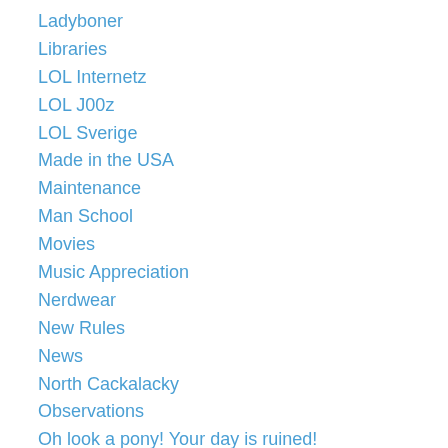Ladyboner
Libraries
LOL Internetz
LOL J00z
LOL Sverige
Made in the USA
Maintenance
Man School
Movies
Music Appreciation
Nerdwear
New Rules
News
North Cackalacky
Observations
Oh look a pony! Your day is ruined!
Oh Really?!
Overshare
Parenting
Parenting Fail